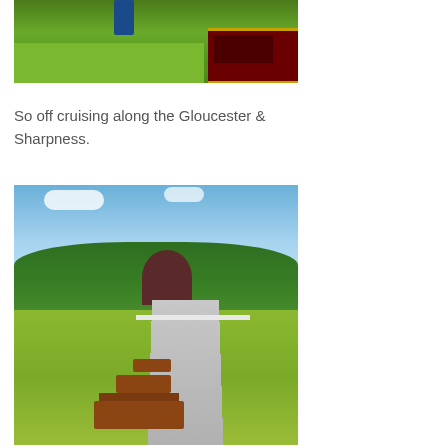[Figure (photo): Photo of a green grassy area with a canal narrowboat visible on the right side, partially cropped. People visible in background. Vibrant green grass fills the foreground.]
So off cruising along the Gloucester & Sharpness.
[Figure (photo): Photo of a scenic open area with wooden benches on a grassy lawn, trees in the background, blue sky with clouds, and a road visible on the right side.]